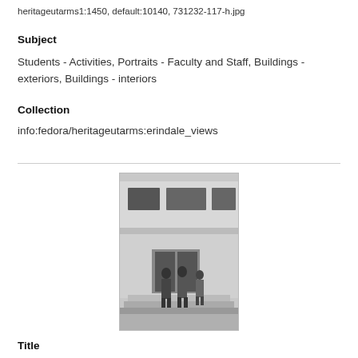heritageutarms1:1450, default:10140, 731232-117-h.jpg
Subject
Students - Activities, Portraits - Faculty and Staff, Buildings - exteriors, Buildings - interiors
Collection
info:fedora/heritageutarms:erindale_views
[Figure (photo): Black and white photograph of people standing in front of a multi-story building exterior with large windows. Two or three figures are visible on or near steps at the entrance.]
Title